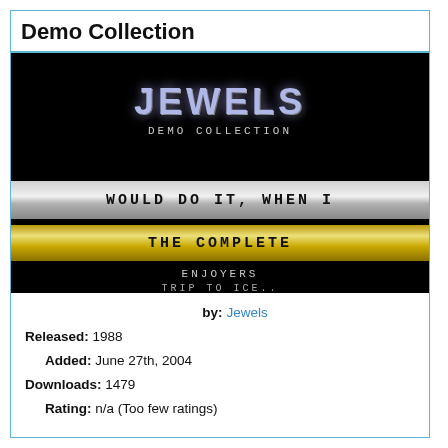Demo Collection
[Figure (screenshot): Screenshot of a retro demo program called 'Jewels Demo Collection' showing stylized text on a black background with silver and gold banner bars reading 'WOULD DO IT, WHEN I' and 'THE COMPLETE', plus text 'ENJOYERS' and 'TRIP TO ICE..']
by: Jewels
Released: 1988
Added: June 27th, 2004
Downloads: 1479
Rating: n/a (Too few ratings)